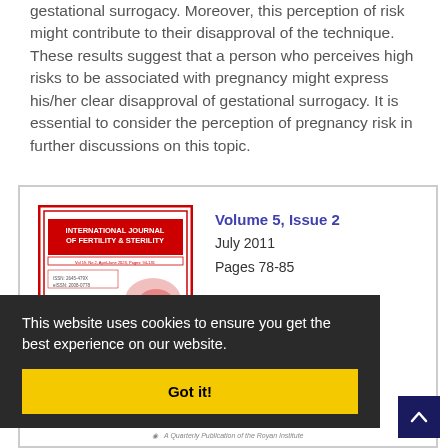gestational surrogacy. Moreover, this perception of risk might contribute to their disapproval of the technique. These results suggest that a person who perceives high risks to be associated with pregnancy might express his/her clear disapproval of gestational surrogacy. It is essential to consider the perception of pregnancy risk in further discussions on this topic.
[Figure (illustration): Journal box showing cover of International Journal of Fertility & Sterility with volume info: Volume 5, Issue 2, July 2011, Pages 78-85]
This website uses cookies to ensure you get the best experience on our website.
Got it!